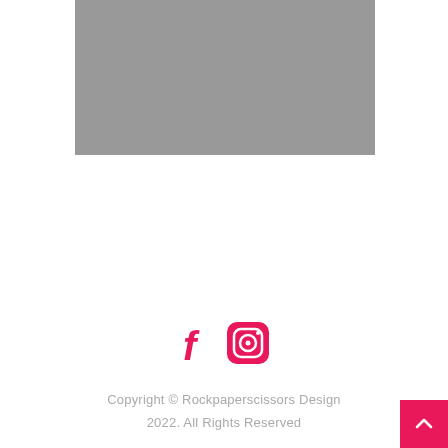[Figure (photo): Gray placeholder image rectangle in the upper portion of the page]
[Figure (other): Social media icons: Facebook (f) and Instagram (camera icon) in pink/magenta color]
Copyright © Rockpaperscissors Design 2022. All Rights Reserved